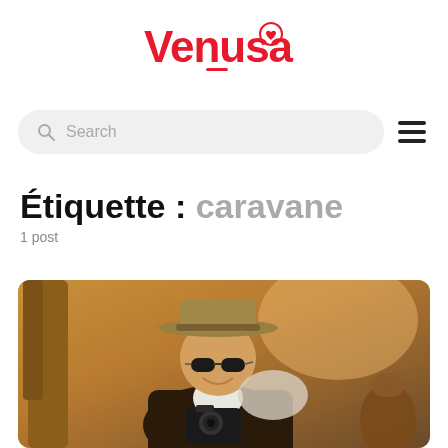[Figure (logo): Venusa logo in red bold font with a small heart icon]
[Figure (screenshot): Search bar with magnifying glass icon and placeholder text 'Search', and hamburger menu icon]
Étiquette : caravane
1 post
[Figure (photo): Photo of a smiling young man wearing a hat and sunglasses, holding a camera, sitting outdoors in a warm-toned setting]